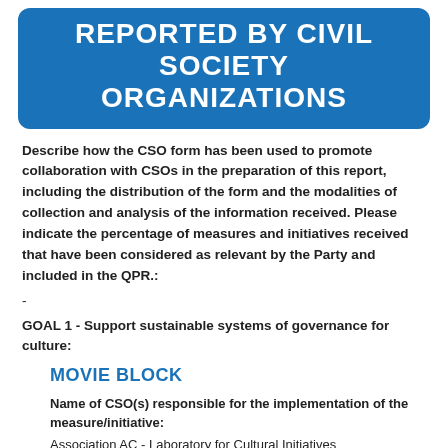REPORTED BY CIVIL SOCIETY ORGANIZATIONS
Describe how the CSO form has been used to promote collaboration with CSOs in the preparation of this report, including the distribution of the form and the modalities of collection and analysis of the information received. Please indicate the percentage of measures and initiatives received that have been considered as relevant by the Party and included in the QPR.:
-
GOAL 1 - Support sustainable systems of governance for culture:
MOVIE BLOCK
Name of CSO(s) responsible for the implementation of the measure/initiative:
Association AC - Laboratory for Cultural Initiatives
Cultural domains covered by the measure/initiative: